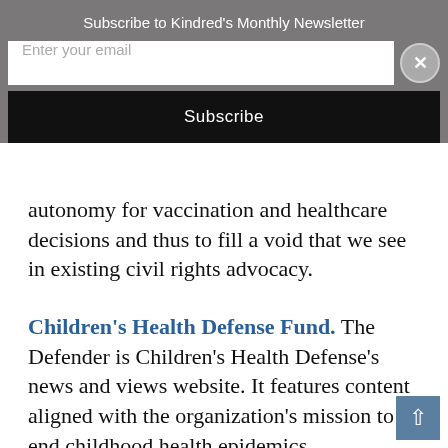Subscribe to Kindred's Monthly Newsletter
autonomy for vaccination and healthcare decisions and thus to fill a void that we see in existing civil rights advocacy.
Children's Health Defense Fund. The Defender is Children's Health Defense's news and views website. It features content aligned with the organization's mission to end childhood health epidemics.
As Robert F. Kennedy, Jr., chairman and chief legal counsel for Children's Health Defense explained in